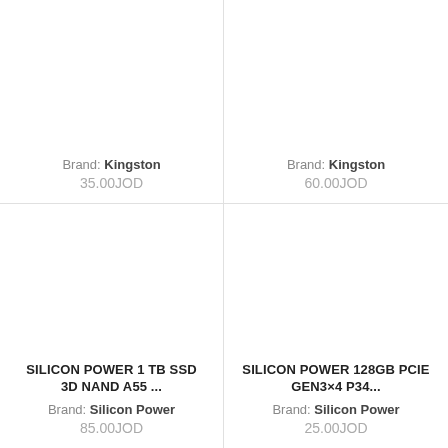Brand: Kingston
35.00JOD
Brand: Kingston
60.00JOD
SILICON POWER 1 TB SSD 3D NAND A55 ...
Brand: Silicon Power
85.00JOD
SILICON POWER 128GB PCIE GEN3×4 P34...
Brand: Silicon Power
25.00JOD